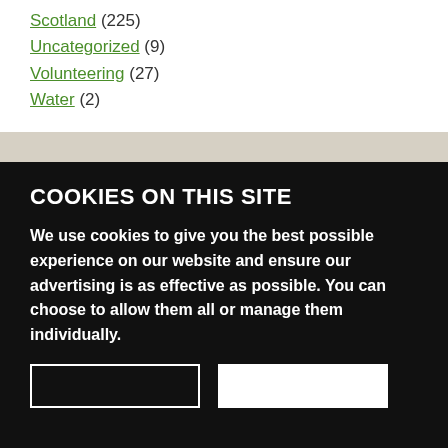Scotland (225)
Uncategorized (9)
Volunteering (27)
Water (2)
COOKIES ON THIS SITE
We use cookies to give you the best possible experience on our website and ensure our advertising is as effective as possible. You can choose to allow them all or manage them individually.